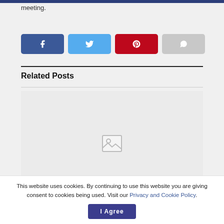meeting.
[Figure (other): Social share buttons: Facebook (blue), Twitter (light blue), Pinterest (red), Share (gray)]
Related Posts
[Figure (photo): Image placeholder with mountain/landscape icon]
This website uses cookies. By continuing to use this website you are giving consent to cookies being used. Visit our Privacy and Cookie Policy.
I Agree